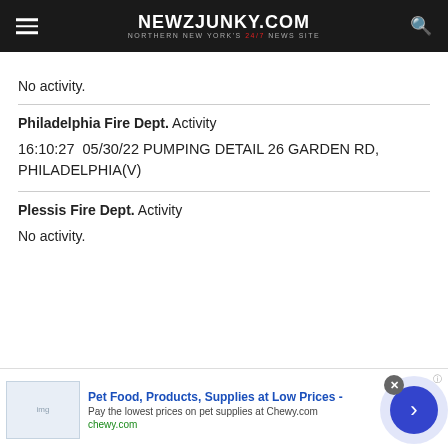NEWZJUNKY.COM — Northern New York's 24/7 News Site
No activity.
Philadelphia Fire Dept. Activity
16:10:27  05/30/22 PUMPING DETAIL 26 GARDEN RD, PHILADELPHIA(V)
Plessis Fire Dept. Activity
No activity.
[Figure (screenshot): Advertisement banner for Chewy.com pet supplies at the bottom of the page]